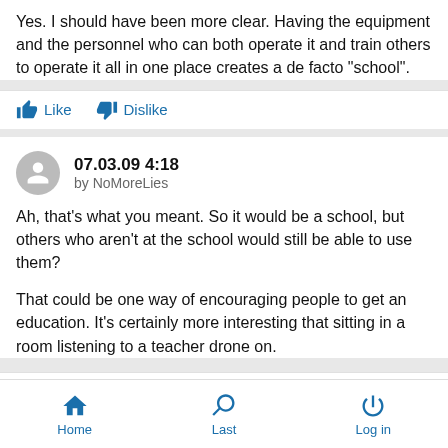Yes. I should have been more clear. Having the equipment and the personnel who can both operate it and train others to operate it all in one place creates a de facto "school".
07.03.09 4:18 by NoMoreLies
Ah, that's what you meant. So it would be a school, but others who aren't at the school would still be able to use them?

That could be one way of encouraging people to get an education. It's certainly more interesting that sitting in a room listening to a teacher drone on.
Home  Last  Log in